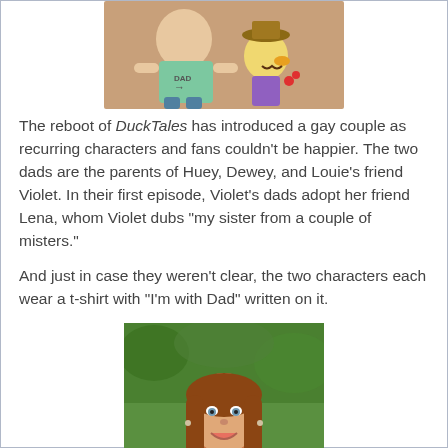[Figure (illustration): Cartoon illustration from DuckTales reboot showing two animated characters, one larger humanoid wearing a green t-shirt with 'DAD' and an arrow, and a smaller duck-like character wearing a brown hat holding flowers.]
The reboot of DuckTales has introduced a gay couple as recurring characters and fans couldn't be happier. The two dads are the parents of Huey, Dewey, and Louie's friend Violet. In their first episode, Violet's dads adopt her friend Lena, whom Violet dubs “my sister from a couple of misters.”
And just in case they weren't clear, the two characters each wear a t-shirt with “I’m with Dad” written on it.
[Figure (photo): Photo of a smiling young woman with long brown hair, outdoors with green foliage in the background.]